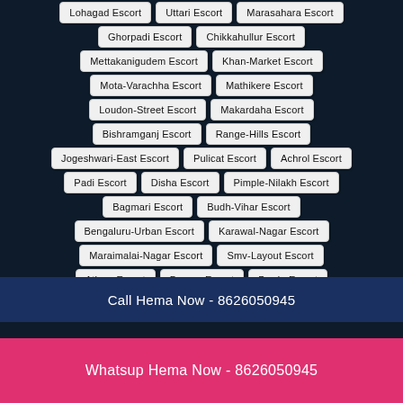Lohagad Escort
Uttari Escort
Marasahara Escort
Ghorpadi Escort
Chikkahullur Escort
Mettakanigudem Escort
Khan-Market Escort
Mota-Varachha Escort
Mathikere Escort
Loudon-Street Escort
Makardaha Escort
Bishramganj Escort
Range-Hills Escort
Jogeshwari-East Escort
Pulicat Escort
Achrol Escort
Padi Escort
Disha Escort
Pimple-Nilakh Escort
Bagmari Escort
Budh-Vihar Escort
Bengaluru-Urban Escort
Karawal-Nagar Escort
Maraimalai-Nagar Escort
Smv-Layout Escort
Athwa Escort
Dumas Escort
Borda Escort
Link-Road Escort
Mahuva Escort
Hennur Escort
Call Hema Now - 8626050945
Whatsup Hema Now - 8626050945